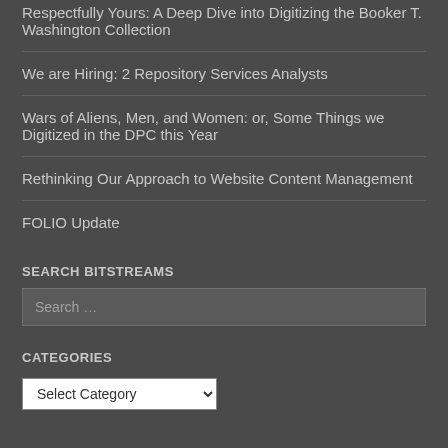Respectfully Yours: A Deep Dive into Digitizing the Booker T. Washington Collection
We are Hiring: 2 Repository Services Analysts
Wars of Aliens, Men, and Women: or, Some Things we Digitized in the DPC this Year
Rethinking Our Approach to Website Content Management
FOLIO Update
SEARCH BITSTREAMS
Search …
CATEGORIES
Select Category